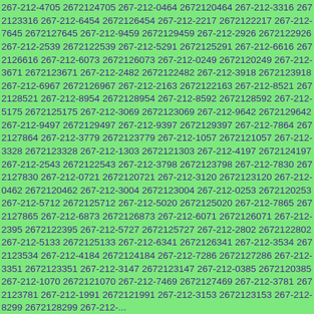267-212-4705 2672124705 267-212-0464 2672120464 267-212-3316 2672123316 267-212-6454 2672126454 267-212-2217 2672122217 267-212-7645 2672127645 267-212-9459 2672129459 267-212-2926 2672122926 267-212-2539 2672122539 267-212-5291 2672125291 267-212-6616 2672126616 267-212-6073 2672126073 267-212-0249 2672120249 267-212-3671 2672123671 267-212-2482 2672122482 267-212-3918 2672123918 267-212-6967 2672126967 267-212-2163 2672122163 267-212-8521 2672128521 267-212-8954 2672128954 267-212-8592 2672128592 267-212-5175 2672125175 267-212-3069 2672123069 267-212-9642 2672129642 267-212-9497 2672129497 267-212-9397 2672129397 267-212-7864 2672127864 267-212-3779 2672123779 267-212-1057 2672121057 267-212-3328 2672123328 267-212-1303 2672121303 267-212-4197 2672124197 267-212-2543 2672122543 267-212-3798 2672123798 267-212-7830 2672127830 267-212-0721 2672120721 267-212-3120 2672123120 267-212-0462 2672120462 267-212-3004 2672123004 267-212-0253 2672120253 267-212-5712 2672125712 267-212-5020 2672125020 267-212-7865 2672127865 267-212-6873 2672126873 267-212-6071 2672126071 267-212-2395 2672122395 267-212-5727 2672125727 267-212-2802 2672122802 267-212-5133 2672125133 267-212-6341 2672126341 267-212-3534 2672123534 267-212-4184 2672124184 267-212-7286 2672127286 267-212-3351 2672123351 267-212-3147 2672123147 267-212-0385 2672120385 267-212-1070 2672121070 267-212-7469 2672127469 267-212-3781 2672123781 267-212-1991 2672121991 267-212-3153 2672123153 267-212-8299 2672128299 267-212-...